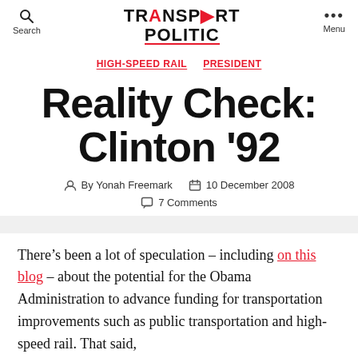Search | TRANSPORT POLITIC | Menu
HIGH-SPEED RAIL  PRESIDENT
Reality Check: Clinton '92
By Yonah Freemark  10 December 2008  7 Comments
There’s been a lot of speculation – including on this blog – about the potential for the Obama Administration to advance funding for transportation improvements such as public transportation and high-speed rail. That said,